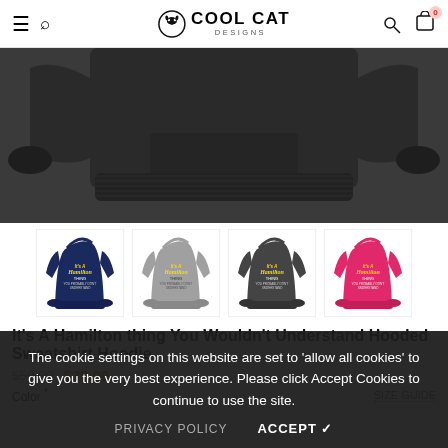Cool Cat Designs — navigation header with hamburger menu, search, logo, user icon, cart (0)
[Figure (photo): Black hoodie sweatshirt shown as the main product image, displaying the bottom/front of the hoodie in dark charcoal/black color]
[Figure (photo): Four thumbnail color variants of the Hamilton hoodie: navy blue, sport grey, dark grey/charcoal, and hot pink/heliconia, each showing the full hoodie with 'It's A Hamilton Thing' text graphic]
It's A Hamilton thing You Wouldn't Understand Hooded Sweatshirt Hoodie
$59.00  $39.99
Color *
SIZE GUIDE
The cookie settings on this website are set to 'allow all cookies' to give you the very best experience. Please click Accept Cookies to continue to use the site.
PRIVACY POLICY   ACCEPT ✓